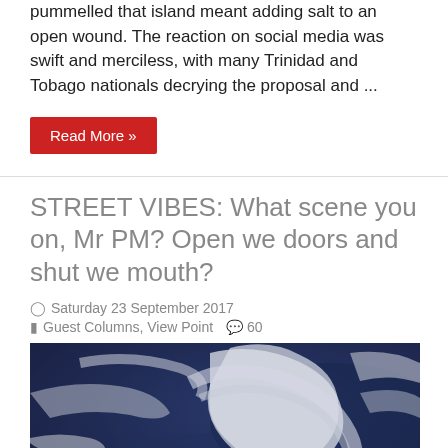pummelled that island meant adding salt to an open wound. The reaction on social media was swift and merciless, with many Trinidad and Tobago nationals decrying the proposal and ...
Read More »
STREET VIBES: What scene you on, Mr PM? Open we doors and shut we mouth?
Saturday 23 September 2017
Guest Columns, View Point   60
[Figure (photo): Satellite image of a hurricane over the Caribbean sea, showing swirling cloud formations and landmasses visible at the bottom left]